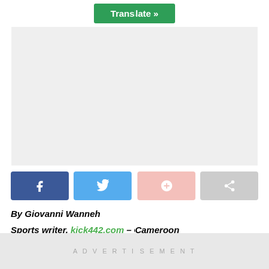[Figure (other): Translate button - green button with white text 'Translate »']
[Figure (other): Gray placeholder block (likely an embedded widget or article image area)]
[Figure (other): Social sharing buttons: Facebook (blue), Twitter (light blue), Google+ (pink), Share (gray)]
By Giovanni Wanneh
Sports writer, kick442.com – Cameroon
ADVERTISEMENT